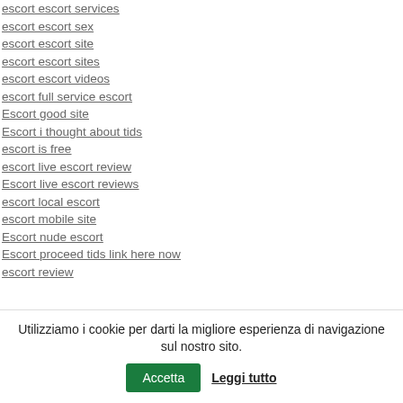escort escort services
escort escort sex
escort escort site
escort escort sites
escort escort videos
escort full service escort
Escort good site
Escort i thought about tids
escort is free
escort live escort review
Escort live escort reviews
escort local escort
escort mobile site
Escort nude escort
Escort proceed tids link here now
escort review
Utilizziamo i cookie per darti la migliore esperienza di navigazione sul nostro sito.
Accetta | Leggi tutto